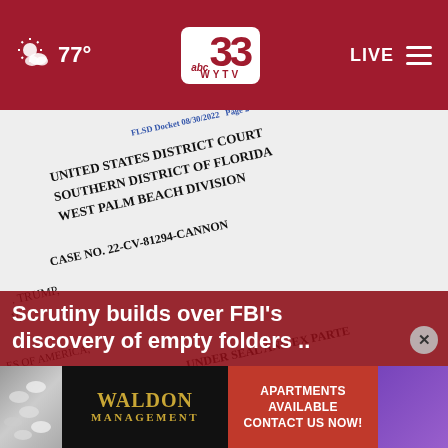77° abc 33 WYTV LIVE
[Figure (photo): Court document from United States District Court, Southern District of Florida, West Palm Beach Division, Case No. 22-CV-81294-CANNON, showing text including 'UNDER SEAL AND EX PARTE', 'UNITED STATES DISTRICT COURT', 'SOUTHERN DISTRICT OF FLORIDA', 'WEST PALM BEACH DIVISION', 'CASE NO. 22-CV-81294-CANNON', 'TRUMP', 'STATES OF AMERICA', 'UNDER SEAL AND EX PARTE', 'DETAILED PROPERTY', 'SUANT TO COURT'. FLSD Docket 08/30/2022 Page 2 of 8.]
Scrutiny builds over FBI's discovery of empty folders ..
[Figure (photo): Advertisement for Waldon Management showing pills on left, Waldon Management text in gold on dark background, red banner reading APARTMENTS AVAILABLE CONTACT US NOW!, purple section on right.]